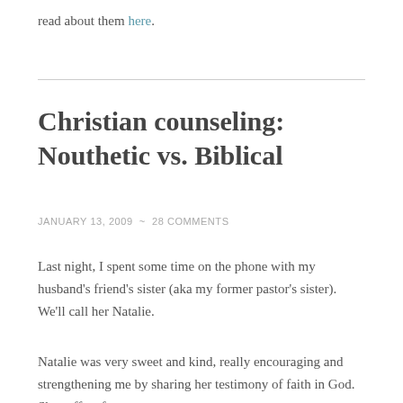read about them here.
Christian counseling: Nouthetic vs. Biblical
JANUARY 13, 2009  ~  28 COMMENTS
Last night, I spent some time on the phone with my husband's friend's sister (aka my former pastor's sister). We'll call her Natalie.
Natalie was very sweet and kind, really encouraging and strengthening me by sharing her testimony of faith in God. She suffers from